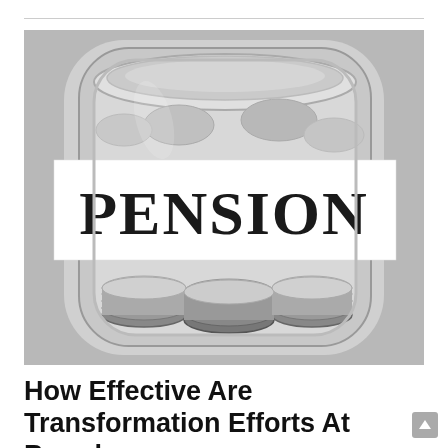[Figure (photo): Black and white photograph of a glass jar filled with coins, with a white label band across the middle printed with the word PENSION in large bold serif letters. The jar is viewed from above/slightly angled on a light gray background.]
How Effective Are Transformation Efforts At Board